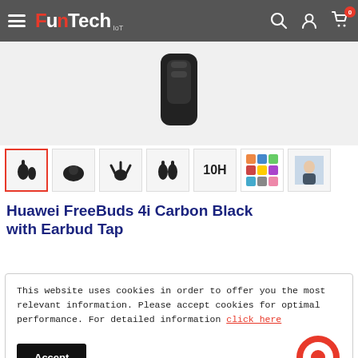FunTech IoT — navigation header with logo, search, user, and cart icons
[Figure (photo): Huawei FreeBuds 4i Carbon Black earbuds with charging case, shown on light grey background]
[Figure (photo): Row of 7 product thumbnail images for Huawei FreeBuds 4i Carbon Black — earbuds, case, features, '10H' battery life, color variants, lifestyle shot. First thumbnail is selected with red border.]
Huawei FreeBuds 4i Carbon Black with Earbud Tap
This website uses cookies in order to offer you the most relevant information. Please accept cookies for optimal performance. For detailed information click here
Accept